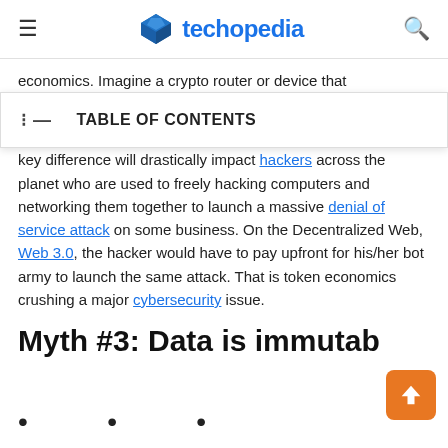techopedia
economics. Imagine a crypto router or device that
TABLE OF CONTENTS
key difference will drastically impact hackers across the planet who are used to freely hacking computers and networking them together to launch a massive denial of service attack on some business. On the Decentralized Web, Web 3.0, the hacker would have to pay upfront for his/her bot army to launch the same attack. That is token economics crushing a major cybersecurity issue.
Myth #3: Data is immutab…